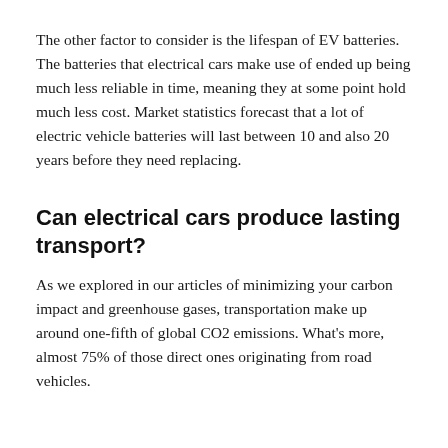The other factor to consider is the lifespan of EV batteries. The batteries that electrical cars make use of ended up being much less reliable in time, meaning they at some point hold much less cost. Market statistics forecast that a lot of electric vehicle batteries will last between 10 and also 20 years before they need replacing.
Can electrical cars produce lasting transport?
As we explored in our articles of minimizing your carbon impact and greenhouse gases, transportation make up around one-fifth of global CO2 emissions. What's more, almost 75% of those direct ones originating from road vehicles.